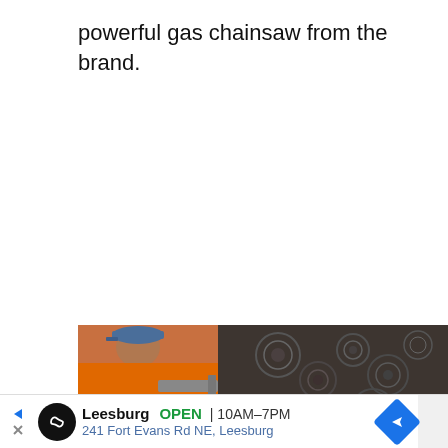powerful gas chainsaw from the brand.
[Figure (photo): Man in orange shirt and blue cap working near a large pile of cut logs/firewood stacked in the background.]
[Figure (infographic): Advertisement banner for a Leesburg store showing: logo (infinity symbol in black circle), store name 'Leesburg', OPEN status, hours '10AM-7PM', address '241 Fort Evans Rd NE, Leesburg', navigation arrow icon, and play/close buttons on left side.]